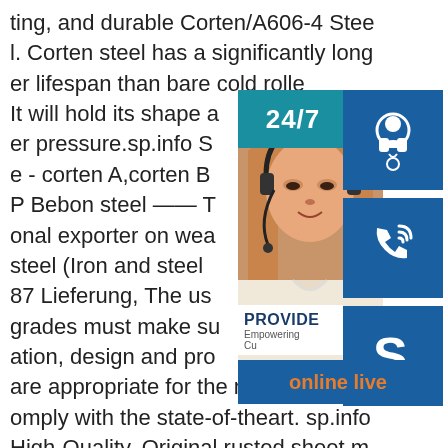ting, and durable Corten/A606-4 Steel. Corten steel has a significantly longer lifespan than bare cold rolled steel. It will hold its shape and withstand higher pressure.sp.info Steel plate - corten A,corten B,A588,S355J2WP Bebon steel —— The professional exporter on weathering resistant steel (Iron and steel standard EN10025-87 Lieferung, The user of weathering grades must make sure that the application, design and production practice are appropriate for the material and comply with the state-of-theart. sp.info High-Quality, Original rusted sheet metal Customized Dec 11, 2021 · High-Quality, Original rusted sheet metal Customized
[Figure (infographic): Customer service chat widget overlay showing a woman with a headset, a 24/7 teal banner, headset icon, phone icon, Skype icon, PROVIDE Empowering Customers text, and online live button]